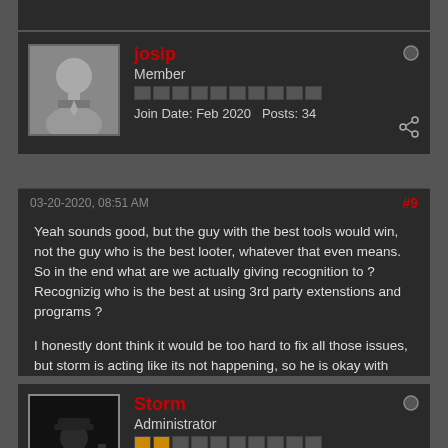josip
Member
Join Date: Feb 2020   Posts: 34
03-20-2020, 08:51 AM   #9
Yeah sounds good, but the guy with the best tools would win, not the guy who is the best looter, whatever that even means. So in the end what are we actually giving recognition to ? Recognizig who is the best at using 3rd party extenstions and programs ?

I honestly dont think it would be too hard to fix all those issues, but storm is acting like its not happening, so he is okay with that.
Storm
Administrator
Join Date: Feb 2011   Posts: 2161